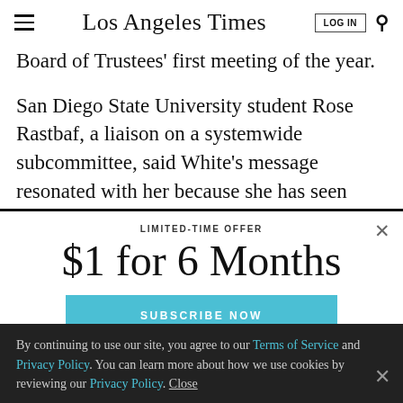Los Angeles Times
Board of Trustees' first meeting of the year.
San Diego State University student Rose Rastbaf, a liaison on a systemwide subcommittee, said White's message resonated with her because she has seen
LIMITED-TIME OFFER
$1 for 6 Months
SUBSCRIBE NOW
By continuing to use our site, you agree to our Terms of Service and Privacy Policy. You can learn more about how we use cookies by reviewing our Privacy Policy. Close